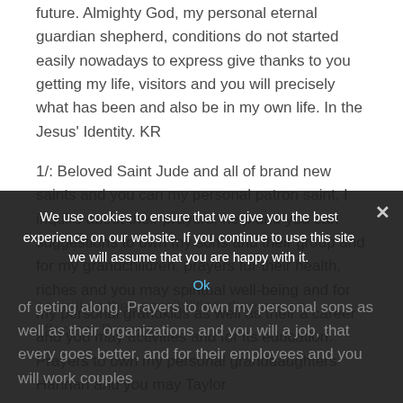future. Almighty God, my personal eternal guardian shepherd, conditions do not started easily nowadays to express give thanks to you getting my life, visitors and you will precisely what has been and also be in my own life. In the Jesus' Identity. KR
1/: Beloved Saint Jude and all of brand new saints and you can my personal patron saint, I inquire about their prayers, help and you can suggestions to own my sons and their group and for my grandchildren, prayers for their health, riches and you may spiritual well-being and for my personal grandkids as well as their a career and you may activities and for its education. Prayers to own my personal granddaughters Hannah and you may Taylor as well as their possibilities, they are an effective. Prayers … of geting along. Prayers to own my personal sons as well as their organizations and you will a job, that every goes better, and for their employees and you will work couples
We use cookies to ensure that we give you the best experience on our website. If you continue to use this site we will assume that you are happy with it.
Ok